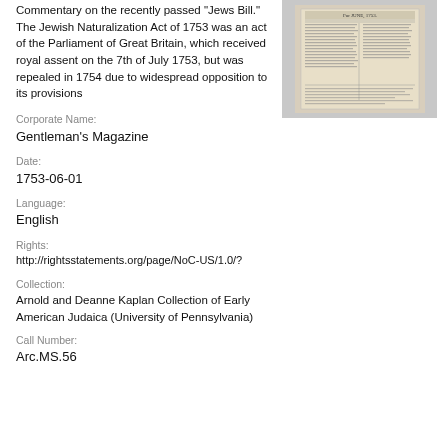Commentary on the recently passed "Jews Bill." The Jewish Naturalization Act of 1753 was an act of the Parliament of Great Britain, which received royal assent on the 7th of July 1753, but was repealed in 1754 due to widespread opposition to its provisions
[Figure (photo): Photograph of the cover page of Gentleman's Magazine for June 1753, showing an old newspaper/magazine front page with dense text columns.]
Corporate Name:
Gentleman's Magazine
Date:
1753-06-01
Language:
English
Rights:
http://rightsstatements.org/page/NoC-US/1.0/?
Collection:
Arnold and Deanne Kaplan Collection of Early American Judaica (University of Pennsylvania)
Call Number:
Arc.MS.56